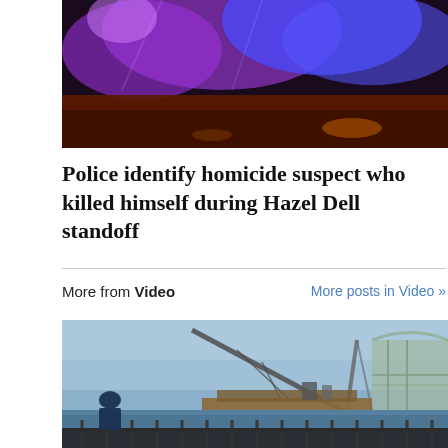[Figure (photo): Photo showing police lights — purple and blue flashing lights on a car interior/exterior at night]
Police identify homicide suspect who killed himself during Hazel Dell standoff
More from Video
More posts in Video »
[Figure (photo): Photo showing a river scene with a large crane barge near a bridge, a person standing at a railing in the foreground looking at the scene]